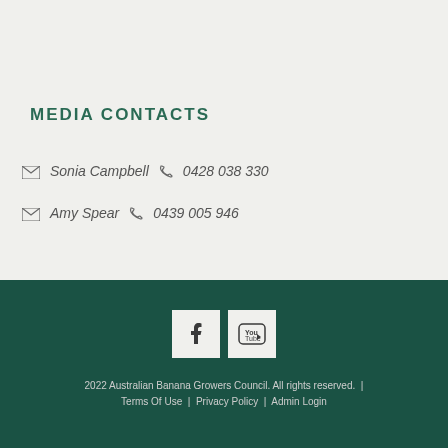MEDIA CONTACTS
✉ Sonia Campbell  📞 0428 038 330
✉ Amy Spear  📞 0439 005 946
[Figure (illustration): Social media icons: Facebook and YouTube buttons]
2022 Australian Banana Growers Council. All rights reserved.  |  Terms Of Use  |  Privacy Policy  |  Admin Login